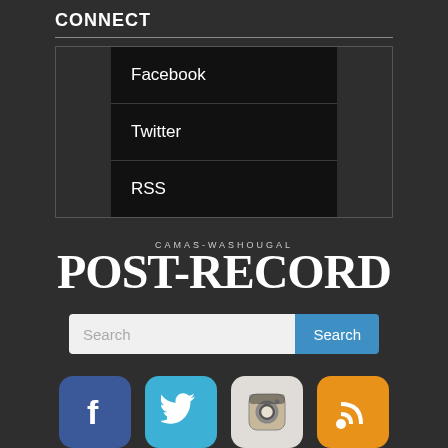CONNECT
Facebook
Twitter
RSS
[Figure (logo): Camas-Washougal Post-Record newspaper logo in white serif font on dark background]
[Figure (other): Search bar with text input and blue Search button]
[Figure (infographic): Four social media icons: Facebook (blue), Twitter (light blue), Instagram (camera), RSS (orange)]
[Figure (other): Blue Subscribe button and partial orange button below]